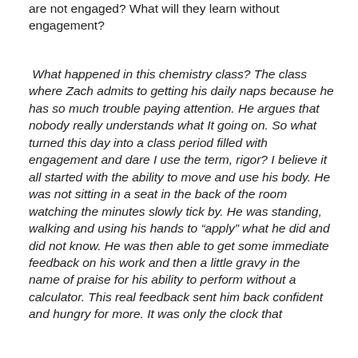are not engaged?  What will they learn without engagement?
What happened in this chemistry class?  The class where Zach admits to getting his daily naps because he has so much trouble paying attention.  He  argues that nobody really understands what It going on.  So what turned this day into a class period filled with engagement and dare I use the term, rigor?   I believe it all started with the ability to move and use his body.  He was not sitting in a seat in the back of the room watching the minutes slowly tick by.  He was standing, walking and using his hands to “apply” what he did and did not know.  He was then able to get some immediate feedback on his work and then a little gravy in the name of praise for his ability to perform without a calculator.  This real feedback sent him back confident and hungry for more.  It was only the clock that